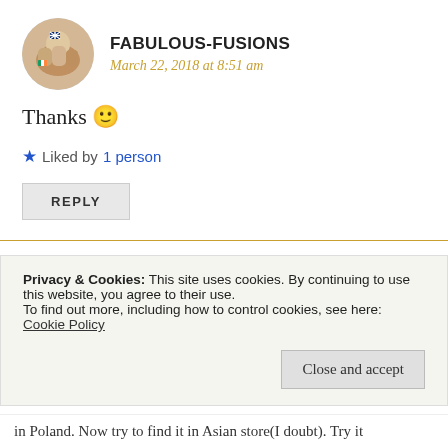FABULOUS-FUSIONS
March 22, 2018 at 8:51 am
Thanks 🙂
★ Liked by 1 person
REPLY
Privacy & Cookies: This site uses cookies. By continuing to use this website, you agree to their use. To find out more, including how to control cookies, see here: Cookie Policy
Close and accept
in Poland. Now try to find it in Asian store(I doubt). Try it